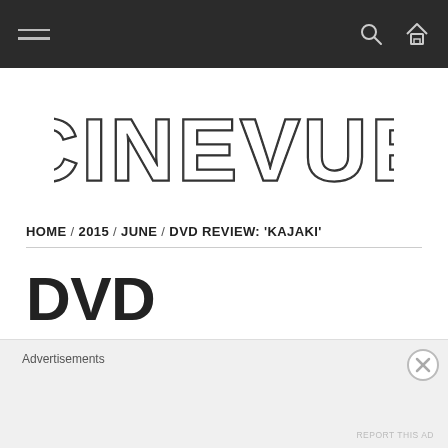CINEVUE website navigation bar with hamburger menu, search and home icons
[Figure (logo): CINEVUE logo in large outlined/double-stroke capital letters]
HOME / 2015 / JUNE / DVD REVIEW: 'KAJAKI'
DVD REVIEW: 'KAJAKI'
Advertisements